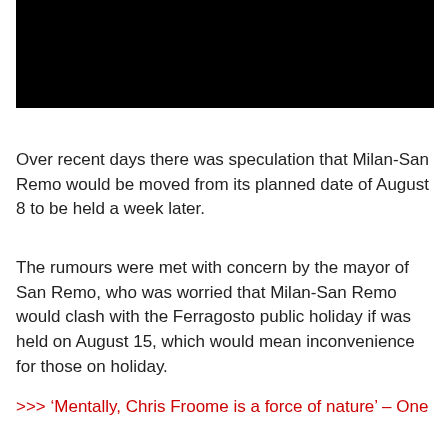[Figure (photo): Black rectangular image placeholder at the top of the page]
Over recent days there was speculation that Milan-San Remo would be moved from its planned date of August 8 to be held a week later.
The rumours were met with concern by the mayor of San Remo, who was worried that Milan-San Remo would clash with the Ferragosto public holiday if was held on August 15, which would mean inconvenience for those on holiday.
>>> ‘Mentally, Chris Froome is a force of nature’ – One